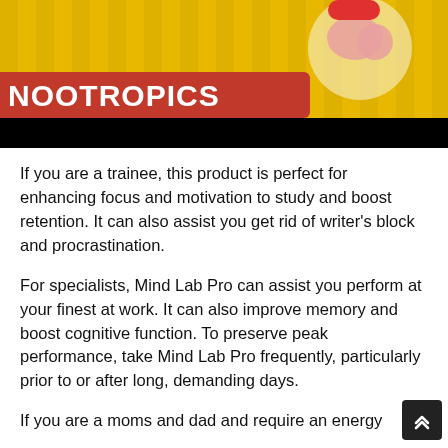[Figure (illustration): Nootropics promotional image with yellow striped background, brain graphic in circular frame, red banner with white text 'NOOTROPICS', and black bar at bottom]
If you are a trainee, this product is perfect for enhancing focus and motivation to study and boost retention. It can also assist you get rid of writer's block and procrastination.
For specialists, Mind Lab Pro can assist you perform at your finest at work. It can also improve memory and boost cognitive function. To preserve peak performance, take Mind Lab Pro frequently, particularly prior to or after long, demanding days.
If you are a moms and dad and require an energy